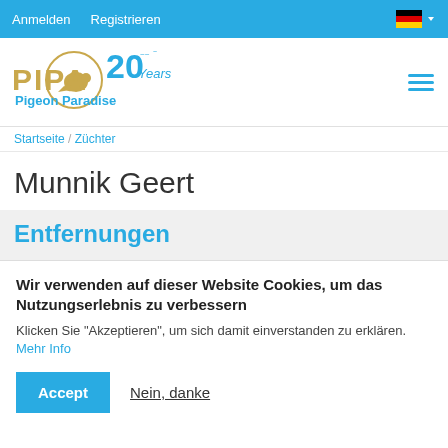Anmelden   Registrieren
[Figure (logo): PIPA Pigeon Paradise logo with pigeon silhouette in circle and 20 Years text]
Startseite / Züchter
Munnik Geert
Entfernungen
Wir verwenden auf dieser Website Cookies, um das Nutzungserlebnis zu verbessern
Klicken Sie "Akzeptieren", um sich damit einverstanden zu erklären. Mehr Info
Accept   Nein, danke